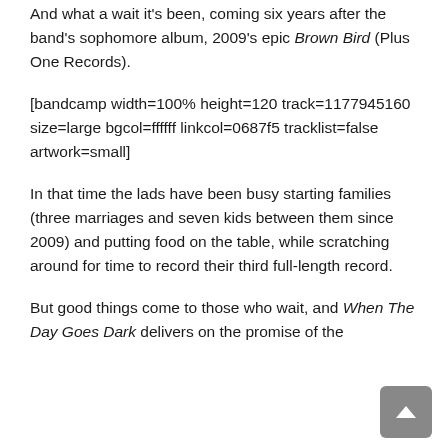And what a wait it's been, coming six years after the band's sophomore album, 2009's epic Brown Bird (Plus One Records).
[bandcamp width=100% height=120 track=1177945160 size=large bgcol=ffffff linkcol=0687f5 tracklist=false artwork=small]
In that time the lads have been busy starting families (three marriages and seven kids between them since 2009) and putting food on the table, while scratching around for time to record their third full-length record.
But good things come to those who wait, and When The Day Goes Dark delivers on the promise of the